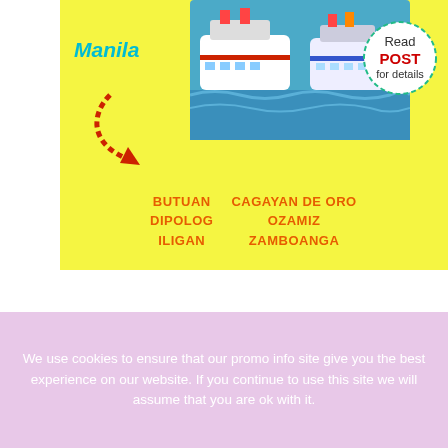[Figure (infographic): Yellow banner showing cruise ships (2Go Travel) with Manila label in cyan italic, red arrow pointing to Mindanao destinations, and a green dashed 'Read POST for details' circle badge. Destinations listed: BUTUAN, DIPOLOG, ILIGAN, CAGAYAN DE ORO, OZAMIZ, ZAMBOANGA in orange bold text.]
Check on this post 2Go Travel ship departure schedule and ticket prices for JULY 2018 for Mindanao routes!
We use cookies to ensure that our promo info site give you the best experience on our website. If you continue to use this site we will assume that you are ok with it.